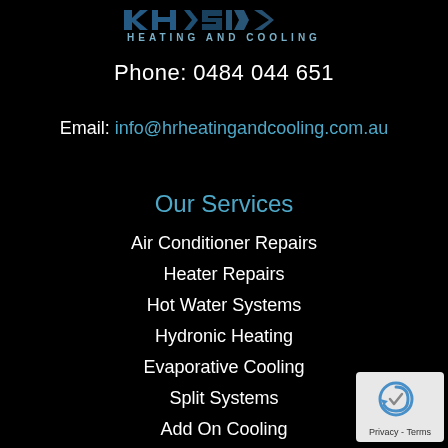[Figure (logo): HR Heating and Cooling logo with blue stylized letters and 'HEATING AND COOLING' text below]
Phone: 0484 044 651
Email: info@hrheatingandcooling.com.au
Our Services
Air Conditioner Repairs
Heater Repairs
Hot Water Systems
Hydronic Heating
Evaporative Cooling
Split Systems
Add On Cooling
[Figure (logo): Google reCAPTCHA Privacy Terms badge in bottom right corner]